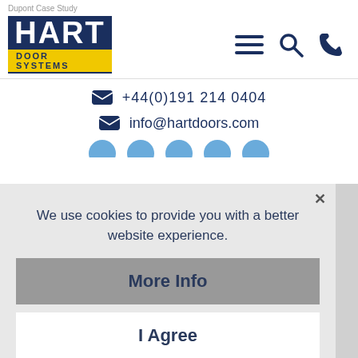Dupont Case Study
[Figure (logo): Hart Door Systems logo — dark blue rectangle with HART in white bold font and DOOR SYSTEMS in yellow bar beneath]
+44(0)191 214 0404
info@hartdoors.com
We use cookies to provide you with a better website experience.
More Info
I Agree